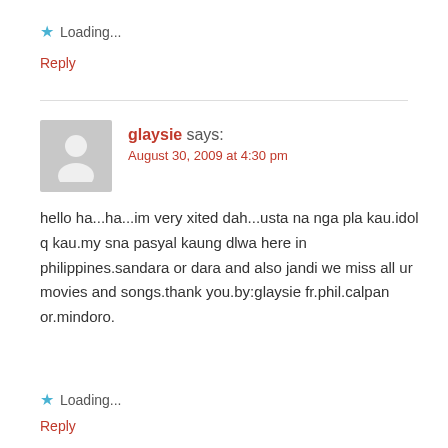★ Loading...
Reply
glaysie says:
August 30, 2009 at 4:30 pm
hello ha...ha...im very xited dah...usta na nga pla kau.idol q kau.my sna pasyal kaung dlwa here in philippines.sandara or dara and also jandi we miss all ur movies and songs.thank you.by:glaysie fr.phil.calpan or.mindoro.
★ Loading...
Reply